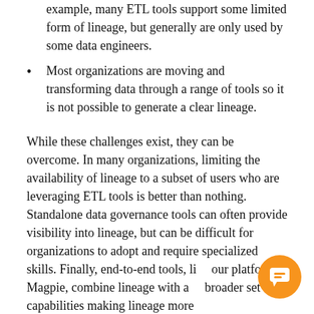example, many ETL tools support some limited form of lineage, but generally are only used by some data engineers.
Most organizations are moving and transforming data through a range of tools so it is not possible to generate a clear lineage.
While these challenges exist, they can be overcome. In many organizations, limiting the availability of lineage to a subset of users who are leveraging ETL tools is better than nothing. Standalone data governance tools can often provide visibility into lineage, but can be difficult for organizations to adopt and require specialized skills. Finally, end-to-end tools, like our platform Magpie, combine lineage with a broader set of capabilities making lineage more